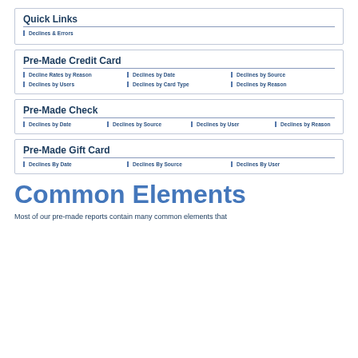Quick Links
Declines & Errors
Pre-Made Credit Card
Decline Rates by Reason
Declines by Date
Declines by Source
Declines by Users
Declines by Card Type
Declines by Reason
Pre-Made Check
Declines by Date
Declines by Source
Declines by User
Declines by Reason
Pre-Made Gift Card
Declines By Date
Declines By Source
Declines By User
Common Elements
Most of our pre-made reports contain many common elements that